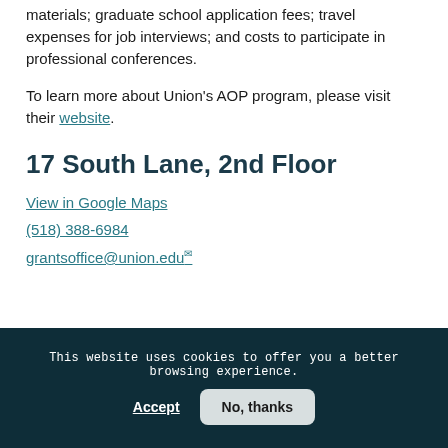materials; graduate school application fees; travel expenses for job interviews; and costs to participate in professional conferences.
To learn more about Union's AOP program, please visit their website.
17 South Lane, 2nd Floor
View in Google Maps
(518) 388-6984
grantsoffice@union.edu
This website uses cookies to offer you a better browsing experience.
Accept
No, thanks